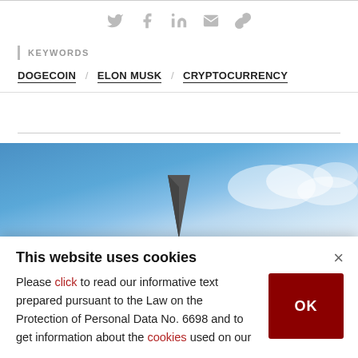[Figure (infographic): Social sharing icons: Twitter, Facebook, LinkedIn, Email, Link]
KEYWORDS
DOGECOIN / ELON MUSK / CRYPTOCURRENCY
[Figure (photo): Rocket or pointed object tip against a blue sky with white clouds]
This website uses cookies
Please click to read our informative text prepared pursuant to the Law on the Protection of Personal Data No. 6698 and to get information about the cookies used on our